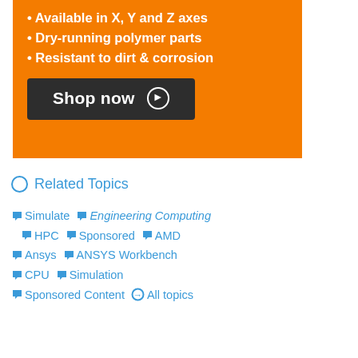[Figure (infographic): Orange advertisement banner with bullet points: 'Available in X, Y and Z axes', 'Dry-running polymer parts', 'Resistant to dirt & corrosion', and a dark 'Shop now' button with a circular arrow icon.]
Related Topics
Simulate
Engineering Computing
HPC
Sponsored
AMD
Ansys
ANSYS Workbench
CPU
Simulation
Sponsored Content
All topics